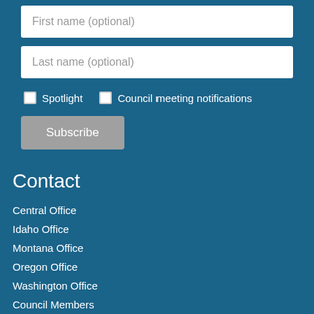[Figure (screenshot): First name (optional) input field - white text input box with placeholder text]
[Figure (screenshot): Last name (optional) input field - white text input box with placeholder text]
Spotlight   Council meeting notifications
[Figure (screenshot): Subscribe button - grey rounded button]
Contact
Central Office
Idaho Office
Montana Office
Oregon Office
Washington Office
Council Members